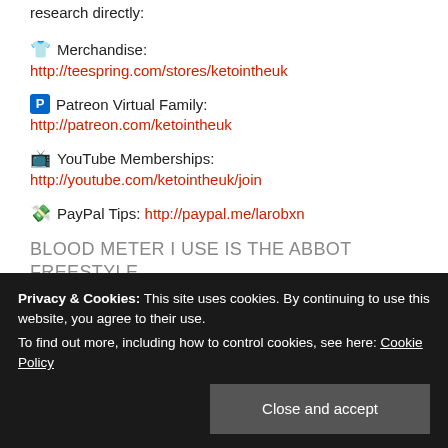research directly:
👕 Merchandise:
http://teespring.com/stores/ketointheuk
🅿 Patreon Virtual Family:
http://patreon.com/ketointheuk
📺 YouTube Memberships:
http://youtube.com/ketointheuk/join
💸 PayPal Tips: http://paypal.me/larobxn
BLOOD METER I USE IS THE ABBOT FREESTYLE
Privacy & Cookies: This site uses cookies. By continuing to use this website, you agree to their use.
To find out more, including how to control cookies, see here: Cookie Policy
found on offers on ebay for around half of that